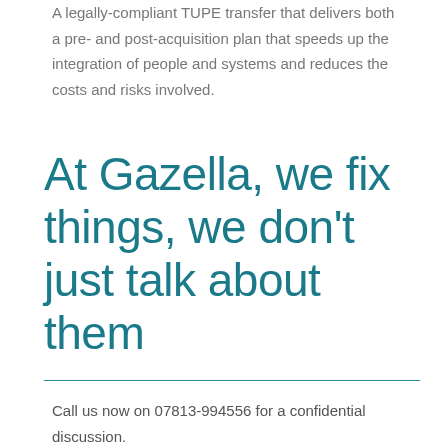A legally-compliant TUPE transfer that delivers both a pre- and post-acquisition plan that speeds up the integration of people and systems and reduces the costs and risks involved.
At Gazella, we fix things, we don't just talk about them
Call us now on 07813-994556 for a confidential discussion.